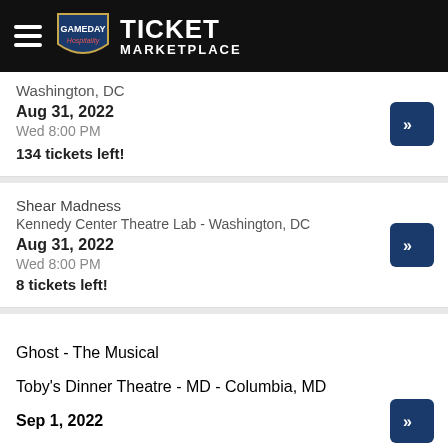Gameday Hospitality Ticket Marketplace
Washington, DC
Aug 31, 2022
Wed 8:00 PM
134 tickets left!
Shear Madness
Kennedy Center Theatre Lab - Washington, DC
Aug 31, 2022
Wed 8:00 PM
8 tickets left!
Ghost - The Musical
Toby's Dinner Theatre - MD - Columbia, MD
Sep 1, 2022
Thu 6:00 PM
14 tickets left!